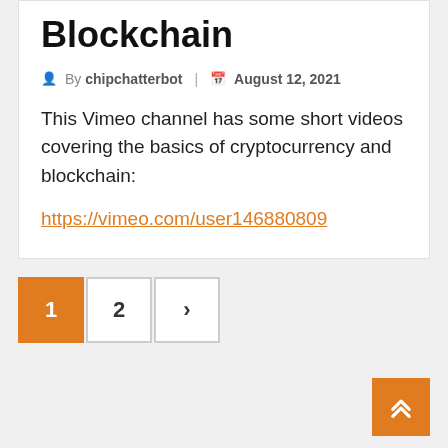Blockchain
By chipchatterbot | August 12, 2021
This Vimeo channel has some short videos covering the basics of cryptocurrency and blockchain:
https://vimeo.com/user146880809
1 2 ›